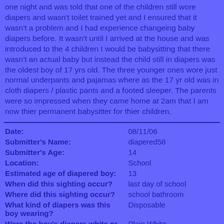one night and was told that one of the children still wore diapers and wasn't toilet trained yet and I ensured that it wasn't a problem and I had experience changeing baby diapers before. It wasn't until I arrived at the house and was introduced to the 4 children I would be babysitting that there wasn't an actual baby but instead the child still in diapers was the oldest boy of 17 yrs old. The three younger ones wore just normal underpants and pajamas where as the 17 yr old was in cloth diapers / plastic pants and a footed sleeper. The parents were so impressed when they came home at 2am that I am now thier permanent babysitter for thier children.
| Field | Value |
| --- | --- |
| Date: | 08/11/06 |
| Submitter's Name: | diapered58 |
| Submitter's Age: | 14 |
| Location: | School |
| Estimated age of diapered boy: | 13 |
| When did this sighting occur? | last day of school |
| Where did this sighting occur? | school bathroom |
| What kind of diapers was this boy wearing? | Disposable |
| Were the boy's diapers white or another color? | Plain White |